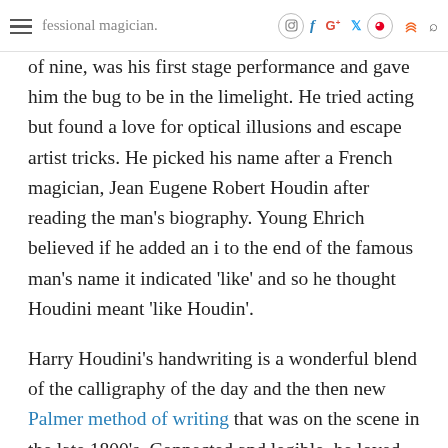after he moved to America from Hungary and became a professional magician. Being a trapeze artist at the age
of nine, was his first stage performance and gave him the bug to be in the limelight. He tried acting but found a love for optical illusions and escape artist tricks. He picked his name after a French magician, Jean Eugene Robert Houdin after reading the man's biography. Young Ehrich believed if he added an i to the end of the famous man's name it indicated 'like' and so he thought Houdini meant 'like Houdin'.
Harry Houdini's handwriting is a wonderful blend of the calligraphy of the day and the then new Palmer method of writing that was on the scene in the late 1800's. Connected and legible, he loved people and wanted to be the center of attention. He loved his mother and was